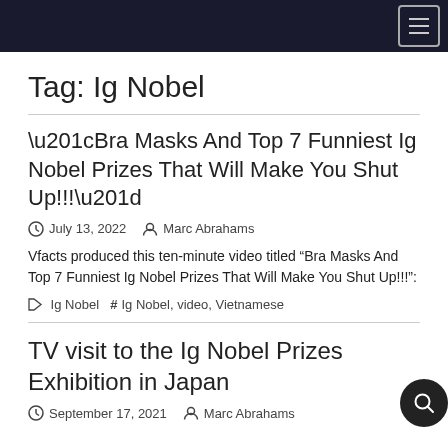Tag: Ig Nobel
“Bra Masks And Top 7 Funniest Ig Nobel Prizes That Will Make You Shut Up!!!”
July 13, 2022  Marc Abrahams
Vfacts produced this ten-minute video titled “Bra Masks And Top 7 Funniest Ig Nobel Prizes That Will Make You Shut Up!!!”:
Ig Nobel  #Ig Nobel, video, Vietnamese
TV visit to the Ig Nobel Prizes Exhibition in Japan
September 17, 2021  Marc Abrahams